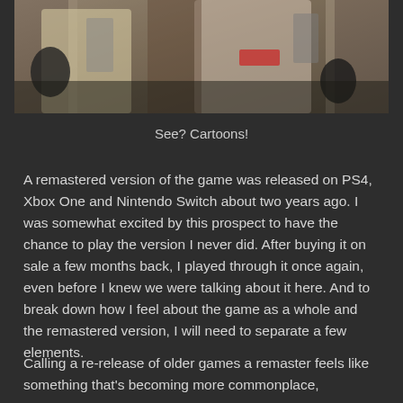[Figure (screenshot): Screenshot of a Ghostbusters video game showing cartoon-styled characters in jumpsuits with proton packs, viewed from below/front angle against a building background]
See? Cartoons!
A remastered version of the game was released on PS4, Xbox One and Nintendo Switch about two years ago. I was somewhat excited by this prospect to have the chance to play the version I never did. After buying it on sale a few months back, I played through it once again, even before I knew we were talking about it here. And to break down how I feel about the game as a whole and the remastered version, I will need to separate a few elements.
Calling a re-release of older games a remaster feels like something that's becoming more commonplace,